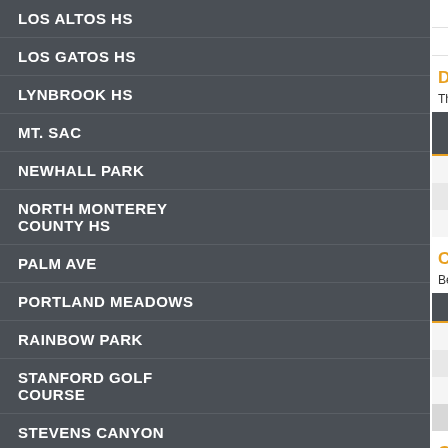LOS ALTOS HS
LOS GATOS HS
LYNBROOK HS
MT. SAC
NEWHALL PARK
NORTH MONTEREY COUNTY HS
PALM AVE
PORTLAND MEADOWS
RAINBOW PARK
STANFORD GOLF COURSE
STEVENS CANYON
TORO PARK
TRACK
WESTMOOR HS
WOODWARD PARK
|  |  |  |
| --- | --- | --- |
| Track | 3 | 18:11 |
| Woodward Park | 3.1 | 19:09. |
Distance-Only Personal Bests
This considers only the courses with distances of 2...
| Standard Distance (Mi) | Time | Pace | Da |
| --- | --- | --- | --- |
| 2 | 12:15.7 | 6:08 | 9/21 |
| 3 | 18:11 | 6:04 | 10/2 |
| 3.1 | 18:22.7 | 5:56 | 3/25 |
Career Summary
Below is a summary of each season run by Alexan...
| Year | # of Races |  |
| --- | --- | --- |
| Fr | 10 |  |
| So | 9 |  |
| Jr | 10 |  |
| Monta Vista Career | 29 |  |
Complete Race And Improvement History:
The following table is a listing of every race through...
| Date | Event |  |
| --- | --- | --- |
| 11/13/21 | CCS Championships | Cr |